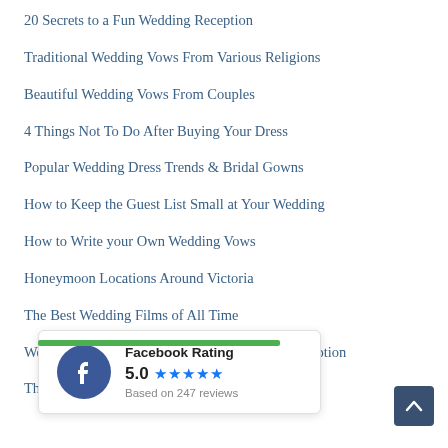20 Secrets to a Fun Wedding Reception
Traditional Wedding Vows From Various Religions
Beautiful Wedding Vows From Couples
4 Things Not To Do After Buying Your Dress
Popular Wedding Dress Trends & Bridal Gowns
How to Keep the Guest List Small at Your Wedding
How to Write your Own Wedding Vows
Honeymoon Locations Around Victoria
The Best Wedding Films of All Time
Wedding Flowers by Season to Have at Your Reception
The Most Famous Wedding Dresses of All Time
7 Different and Unusual Wedding Car Ideas
[Figure (infographic): Facebook Rating overlay showing 5.0 stars based on 247 reviews, with Facebook logo icon]